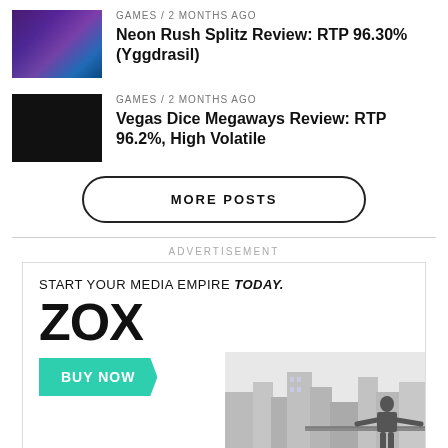[Figure (photo): Neon Rush Splitz game thumbnail with purple/blue neon style]
GAMES / 2 months ago
Neon Rush Splitz Review: RTP 96.30% (Yggdrasil)
[Figure (photo): Vegas Dice Megaways game thumbnail, black background]
GAMES / 2 months ago
Vegas Dice Megaways Review: RTP 96.2%, High Volatile
MORE POSTS
ADVERTISEMENT
[Figure (illustration): ZOX advertisement: START YOUR MEDIA EMPIRE TODAY. ZOX logo. BUY NOW button. Person standing on rooftop overlooking city skyline.]